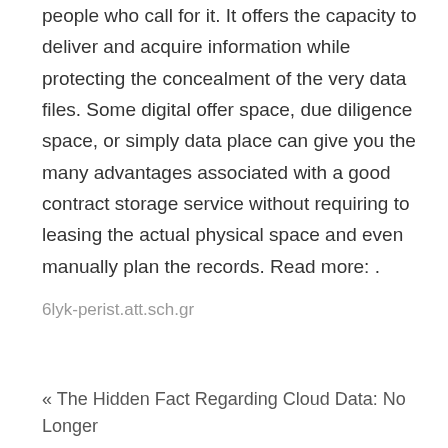people who call for it. It offers the capacity to deliver and acquire information while protecting the concealment of the very data files. Some digital offer space, due diligence space, or simply data place can give you the many advantages associated with a good contract storage service without requiring to leasing the actual physical space and even manually plan the records. Read more: .
6lyk-perist.att.sch.gr
« The Hidden Fact Regarding Cloud Data: No Longer